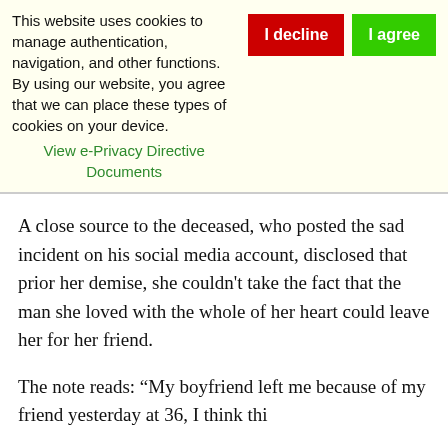This website uses cookies to manage authentication, navigation, and other functions. By using our website, you agree that we can place these types of cookies on your device. View e-Privacy Directive Documents
A close source to the deceased, who posted the sad incident on his social media account, disclosed that prior her demise, she couldn't take the fact that the man she loved with the whole of her heart could leave her for her friend.
The note reads: “My boyfriend left me because of my friend yesterday at 36, I think thi